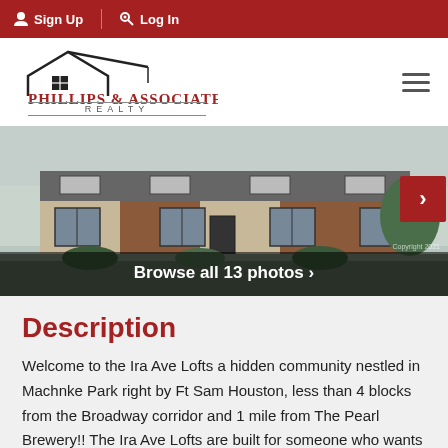Sign Up  Log In
[Figure (logo): Phillips & Associates Realty logo with house roof outline and grid window icon]
[Figure (photo): Exterior rendering of Ira Ave Lofts townhomes, modern brick and dark siding construction, with 'Browse all 13 photos' overlay]
Description
Welcome to the Ira Ave Lofts a hidden community nestled in Machnke Park right by Ft Sam Houston, less than 4 blocks from the Broadway corridor and 1 mile from The Pearl Brewery!! The Ira Ave Lofts are built for someone who wants to customize their